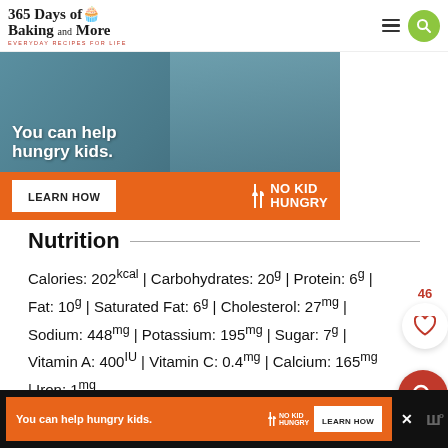365 Days of Baking and More — EVERYDAY RECIPES FOR LIFE
[Figure (infographic): No Kid Hungry advertisement banner: 'You can help hungry kids.' with LEARN HOW button and No Kid Hungry logo on orange background]
Nutrition
Calories: 202kcal | Carbohydrates: 20g | Protein: 6g | Fat: 10g | Saturated Fat: 6g | Cholesterol: 27mg | Sodium: 448mg | Potassium: 195mg | Sugar: 7g | Vitamin A: 400IU | Vitamin C: 0.4mg | Calcium: 165mg | Iron: 1mg
[Figure (infographic): Bottom ad bar: No Kid Hungry advertisement with 'You can help hungry kids.' text, LEARN HOW button, close X button]